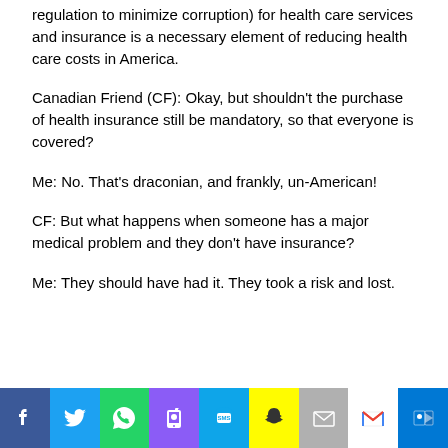regulation to minimize corruption) for health care services and insurance is a necessary element of reducing health care costs in America.
Canadian Friend (CF): Okay, but shouldn't the purchase of health insurance still be mandatory, so that everyone is covered?
Me: No. That's draconian, and frankly, un-American!
CF: But what happens when someone has a major medical problem and they don't have insurance?
Me: They should have had it. They took a risk and lost.
[Figure (infographic): Social media sharing bar with icons for Facebook, Twitter, WhatsApp, Phone, SMS, Snapchat, Email, Gmail, and Outlook]